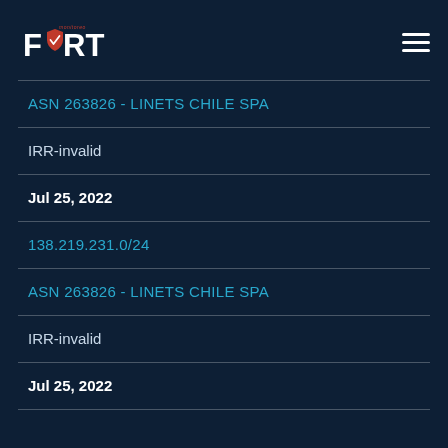FORT monitoreo — navigation header with logo and hamburger menu
ASN 263826 - LINETS CHILE SPA
IRR-invalid
Jul 25, 2022
138.219.231.0/24
ASN 263826 - LINETS CHILE SPA
IRR-invalid
Jul 25, 2022